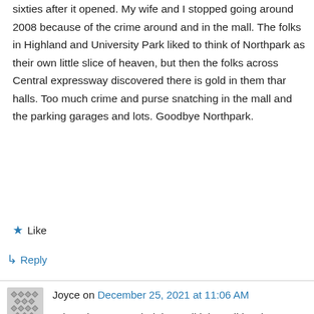sixties after it opened. My wife and I stopped going around 2008 because of the crime around and in the mall. The folks in Highland and University Park liked to think of Northpark as their own little slice of heaven, but then the folks across Central expressway discovered there is gold in them thar halls. Too much crime and purse snatching in the mall and the parking garages and lots. Goodbye Northpark.
★ Like
↳ Reply
Joyce on December 25, 2021 at 11:06 AM
When they expanded the mall it lost all its charm